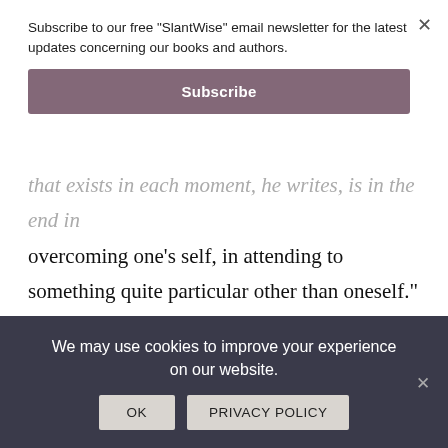Subscribe to our free "SlantWise" email newsletter for the latest updates concerning our books and authors.
Subscribe
that exists in each moment, he writes, is in the end in overcoming one’s self, in attending to something quite particular other than oneself.” Thoreau is a model for Cording, because “Thoreau’s attentiveness is a kind of spiritual discipline, an exercise of constantly attending to the uniqueness and particularity of the world
We may use cookies to improve your experience on our website.
OK
PRIVACY POLICY